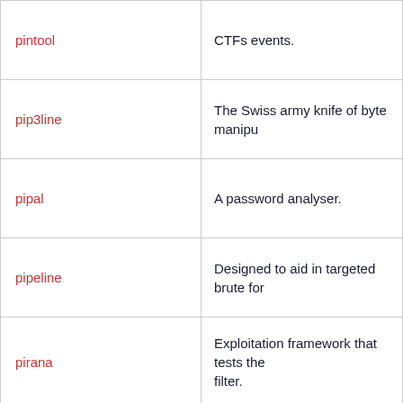| Tool | Description |
| --- | --- |
| pintool | CTFs events. |
| pip3line | The Swiss army knife of byte manipu… |
| pipal | A password analyser. |
| pipeline | Designed to aid in targeted brute for… |
| pirana | Exploitation framework that tests the… filter. |
|  | An offline WPS brute force utility… |